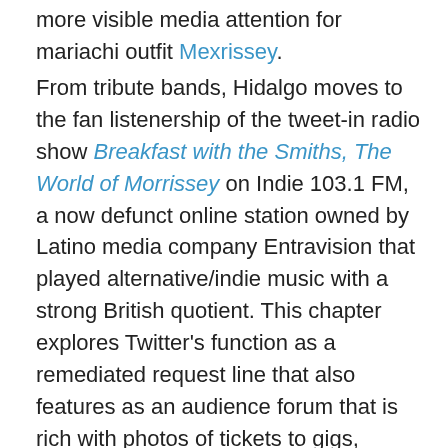more visible media attention for mariachi outfit Mexrissey.
From tribute bands, Hidalgo moves to the fan listenership of the tweet-in radio show Breakfast with the Smiths, The World of Morrissey on Indie 103.1 FM, a now defunct online station owned by Latino media company Entravision that played alternative/indie music with a strong British quotient. This chapter explores Twitter's function as a remediated request line that also features as an audience forum that is rich with photos of tickets to gigs, selfies, memes and graphics alongside social media chatter and verbal performance (such as anagrams) around songs. Hidalgo then moves on to literary performances of Morrissey in poetry, fiction, theatre and film. Morrissey-inspired events are rooted here in the musical and broader artistic histories of East LA with its